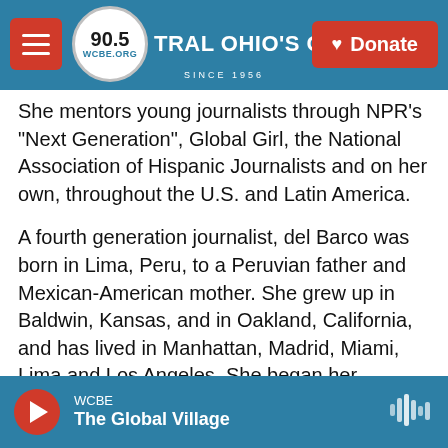90.5 WCBE · CENTRAL OHIO'S ORIGINAL NPR STATION · SINCE 1956 · Donate
She mentors young journalists through NPR's "Next Generation", Global Girl, the National Association of Hispanic Journalists and on her own, throughout the U.S. and Latin America.
A fourth generation journalist, del Barco was born in Lima, Peru, to a Peruvian father and Mexican-American mother. She grew up in Baldwin, Kansas, and in Oakland, California, and has lived in Manhattan, Madrid, Miami, Lima and Los Angeles. She began her journalism career as a reporter, columnist and editor for the Daily Californian while studying anthropology and rhetoric at the University of California, Berkeley. She earned a Master's degree in journalism from Columbia University with her thesis, "Breakdancers: Who are they, and why are they spinning on their heads?"
WCBE · The Global Village